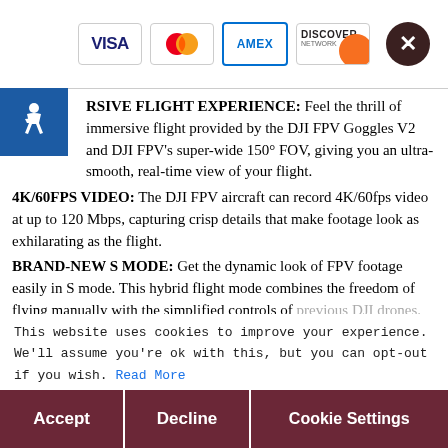[Figure (other): Payment method icons: VISA, MasterCard, AMEX, DISCOVER with a close (X) button]
[Figure (other): Accessibility wheelchair icon in blue square]
IMMERSIVE FLIGHT EXPERIENCE: Feel the thrill of immersive flight provided by the DJI FPV Goggles V2 and DJI FPV's super-wide 150° FOV, giving you an ultra-smooth, real-time view of your flight.
4K/60FPS VIDEO: The DJI FPV aircraft can record 4K/60fps video at up to 120 Mbps, capturing crisp details that make footage look as exhilarating as the flight.
BRAND-NEW S MODE: Get the dynamic look of FPV footage easily in S mode. This hybrid flight mode combines the freedom of flying manually with the simplified controls of previous DJI drones.
ADVANCED SAFETY: ... Smart Return to Home (RTH), Low Battery RTH, and forward and downward obstacle sensing are all built into DJI FP... flight, even at h...
OCUSYNC 3.0 TRANSMISSION SYSTEM: Enjoy crystal-clear
This website uses cookies to improve your experience. We'll assume you're ok with this, but you can opt-out if you wish. Read More
Accept | Decline | Cookie Settings